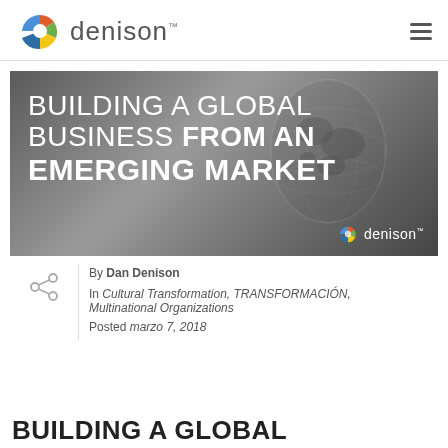denison™
[Figure (illustration): Banner image with dark background showing eyeglasses and a glass globe. Text overlay reads: BUILDING A GLOBAL BUSINESS FROM AN EMERGING MARKET. Denison logo in bottom right corner.]
By Dan Denison
In Cultural Transformation, TRANSFORMACIÓN, Multinational Organizations
Posted marzo 7, 2018
BUILDING A GLOBAL